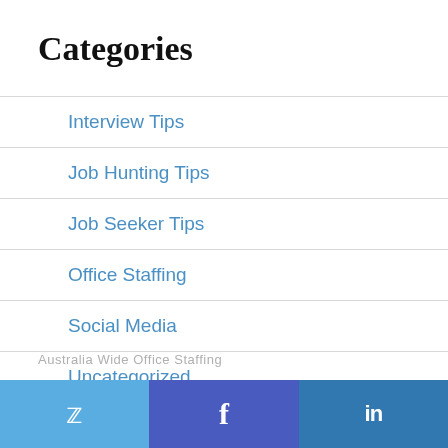Categories
Interview Tips
Job Hunting Tips
Job Seeker Tips
Office Staffing
Social Media
Uncategorized
Australia Wide Office Staffing